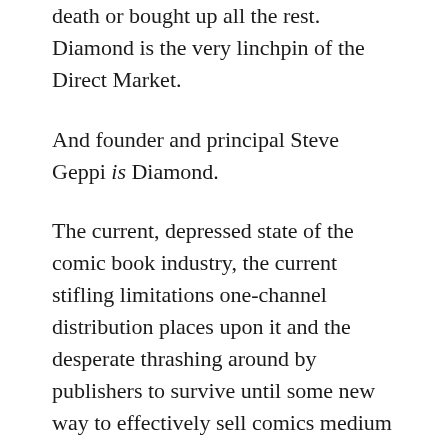death or bought up all the rest. Diamond is the very linchpin of the Direct Market.
And founder and principal Steve Geppi is Diamond.
The current, depressed state of the comic book industry, the current stifling limitations one-channel distribution places upon it and the desperate thrashing around by publishers to survive until some new way to effectively sell comics medium entertainment develops are not Diamond's fault. Certainly not Steve's fault.
We, the comic book industry, got where we are honestly enough (if occasionally stupidly).
The comic book industry has few friends as good as